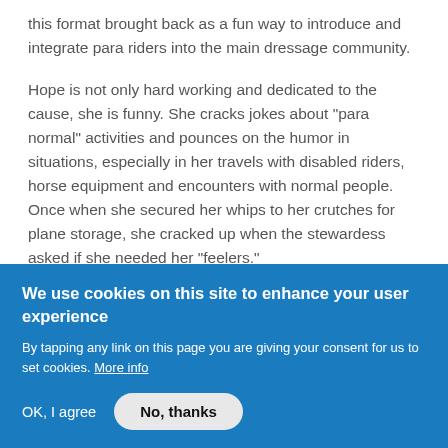this format brought back as a fun way to introduce and integrate para riders into the main dressage community.
Hope is not only hard working and dedicated to the cause, she is funny. She cracks jokes about "para normal" activities and pounces on the humor in situations, especially in her travels with disabled riders, horse equipment and encounters with normal people. Once when she secured her whips to her crutches for plane storage, she cracked up when the stewardess asked if she needed her "feelers."
May the Force Be With You
We use cookies on this site to enhance your user experience
By tapping any link on this page you are giving your consent for us to set cookies. More info
OK, I agree | No, thanks